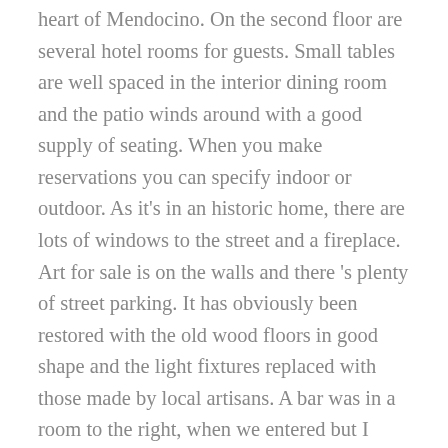heart of Mendocino.  On the second floor are several hotel rooms for guests.  Small tables are well spaced in the interior dining room and the patio winds around with a good supply of seating.  When you make reservations you can specify indoor or outdoor.  As it's in an historic home, there are lots of windows to the street and a fireplace.  Art for sale is on the walls and there 's plenty of street parking.  It has obviously been restored with the old wood floors in good shape and the light fixtures replaced with those made by local artisans.  A bar was in a room to the right, when we entered but I only saw 2 vacant stools in front of it.  Service was friendly and efficient but not particularly knowledgable about the history of the place.  There were no daily specials just the changoing soup of the day flavor.  However when I compared the menu we had to what was on